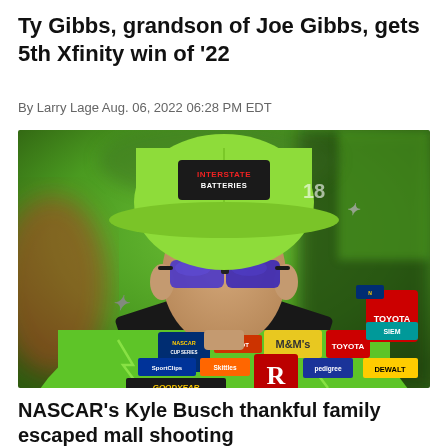Ty Gibbs, grandson of Joe Gibbs, gets 5th Xfinity win of '22
By Larry Lage Aug. 06, 2022 06:28 PM EDT
[Figure (photo): NASCAR driver Kyle Busch wearing a bright green racing suit with Interstate Batteries hat and blue reflective sunglasses, looking down]
NASCAR's Kyle Busch thankful family escaped mall shooting